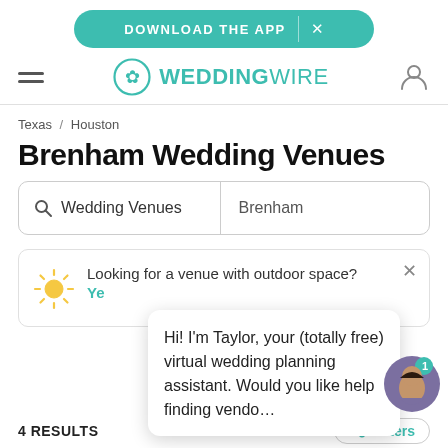[Figure (screenshot): Download the App banner button in teal/green color with X close button]
[Figure (logo): WeddingWire logo with teal circular emblem and bold text]
Texas / Houston
Brenham Wedding Venues
[Figure (screenshot): Search bar with magnifying glass icon, showing 'Wedding Venues' and 'Brenham' fields]
Looking for a venue with outdoor space? Ye...
Hi! I'm Taylor, your (totally free) virtual wedding planning assistant. Would you like help finding vendo...
4 RESULTS
Filters